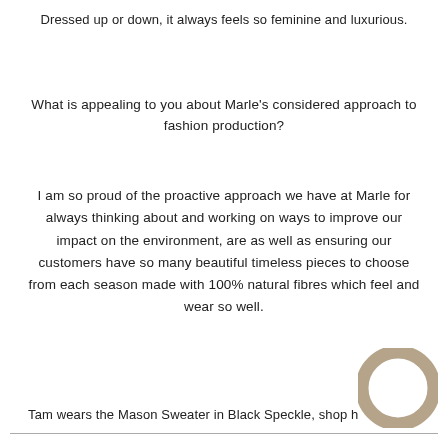Dressed up or down, it always feels so feminine and luxurious.
What is appealing to you about Marle's considered approach to fashion production?
I am so proud of the proactive approach we have at Marle for always thinking about and working on ways to improve our impact on the environment, are as well as ensuring our customers have so many beautiful timeless pieces to choose from each season made with 100% natural fibres which feel and wear so well.
Tam wears the Mason Sweater in Black Speckle, shop h
[Figure (logo): Tan/beige circular ring logo in bottom right corner]